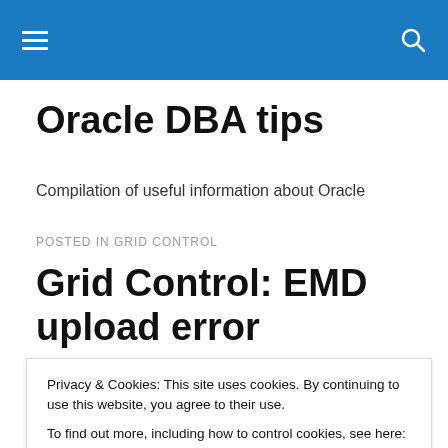Oracle DBA tips — site navigation header bar
Oracle DBA tips
Compilation of useful information about Oracle
POSTED IN GRID CONTROL
Grid Control: EMD upload error
Privacy & Cookies: This site uses cookies. By continuing to use this website, you agree to their use.
To find out more, including how to control cookies, see here: Cookie Policy
control maintenance window